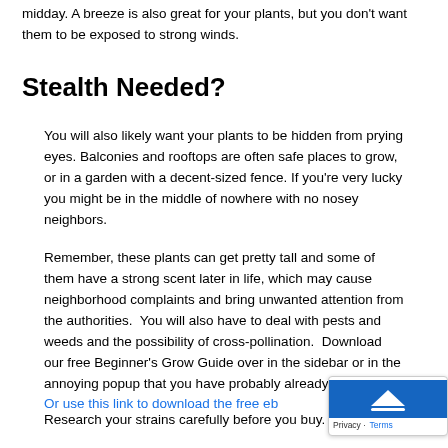midday. A breeze is also great for your plants, but you don't want them to be exposed to strong winds.
Stealth Needed?
You will also likely want your plants to be hidden from prying eyes. Balconies and rooftops are often safe places to grow, or in a garden with a decent-sized fence. If you're very lucky you might be in the middle of nowhere with no nosey neighbors.
Remember, these plants can get pretty tall and some of them have a strong scent later in life, which may cause neighborhood complaints and bring unwanted attention from the authorities.  You will also have to deal with pests and weeds and the possibility of cross-pollination.  Download our free Beginner's Grow Guide over in the sidebar or in the annoying popup that you have probably already run across.  Or use this link to download the free eb...
Research your strains carefully before you buy. If you choos...